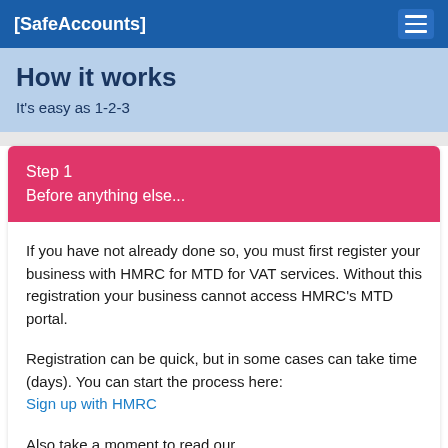[SafeAccounts]
How it works
It's easy as 1-2-3
Step 1
Before anything else...
If you have not already done so, you must first register your business with HMRC for MTD for VAT services. Without this registration your business cannot access HMRC's MTD portal.
Registration can be quick, but in some cases can take time (days). You can start the process here: Sign up with HMRC
Also take a moment to read our Terms of Use and Privacy...